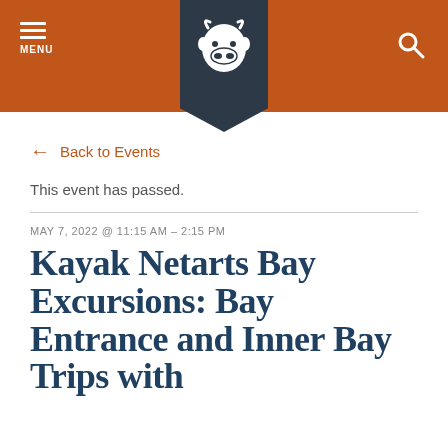MENU | [cow logo] | [search icon]
← Back to Events
This event has passed.
MAY 7, 2022 @ 11:15 AM - 2:15 PM
Kayak Netarts Bay Excursions: Bay Entrance and Inner Bay Trips with